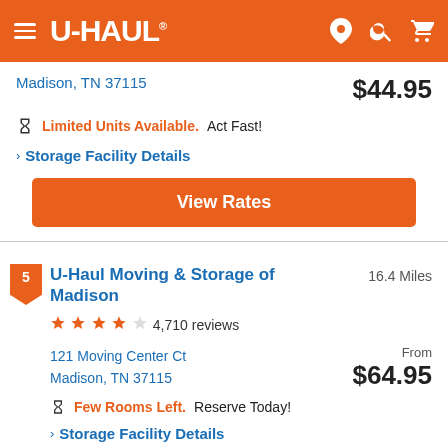[Figure (logo): U-Haul orange navigation header bar with hamburger menu, U-HAUL logo, location pin, search, and cart icons]
Madison, TN 37115
$44.95
Limited Units Available. Act Fast!
Storage Facility Details
View Rates
5  U-Haul Moving & Storage of Madison  16.4 Miles
4,710 reviews
121 Moving Center Ct
Madison, TN 37115
From $64.95
Few Rooms Left. Reserve Today!
Storage Facility Details